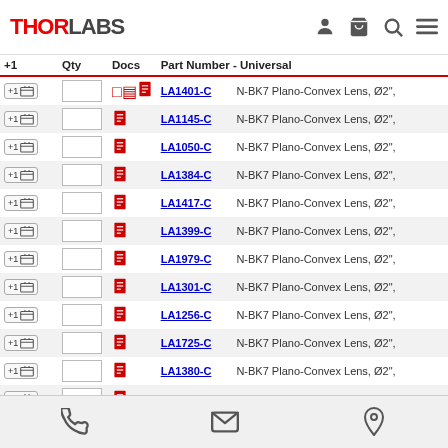THORLABS — navigation header with user, cart, search, menu icons
| +1 | Qty | Docs | Part Number - Universal |  |
| --- | --- | --- | --- | --- |
| +1 |  | doc | LA1401-C | N-BK7 Plano-Convex Lens, Ø2", |
| +1 |  | doc | LA1145-C | N-BK7 Plano-Convex Lens, Ø2", |
| +1 |  | doc | LA1050-C | N-BK7 Plano-Convex Lens, Ø2", |
| +1 |  | doc | LA1384-C | N-BK7 Plano-Convex Lens, Ø2", |
| +1 |  | doc | LA1417-C | N-BK7 Plano-Convex Lens, Ø2", |
| +1 |  | doc | LA1399-C | N-BK7 Plano-Convex Lens, Ø2", |
| +1 |  | doc | LA1979-C | N-BK7 Plano-Convex Lens, Ø2", |
| +1 |  | doc | LA1301-C | N-BK7 Plano-Convex Lens, Ø2", |
| +1 |  | doc | LA1256-C | N-BK7 Plano-Convex Lens, Ø2", |
| +1 |  | doc | LA1725-C | N-BK7 Plano-Convex Lens, Ø2", |
| +1 |  | doc | LA1380-C | N-BK7 Plano-Convex Lens, Ø2", |
| +1 |  | doc | LA1727-C | N-BK7 Plano-Convex Lens, Ø2", |
| +1 |  | doc | LA1779-C | N-BK7 Plano-Convex Lens, Ø2", |
Add To Cart
Phone, Email, Location icons